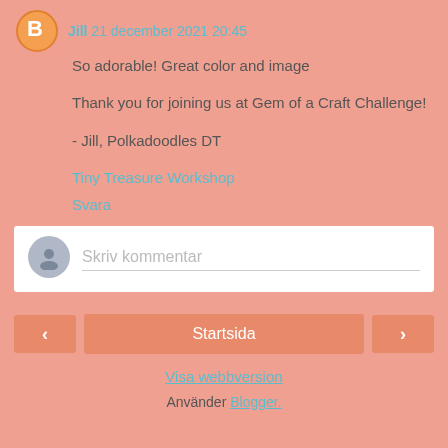Jill 21 december 2021 20:45
So adorable! Great color and image
Thank you for joining us at Gem of a Craft Challenge!

- Jill, Polkadoodles DT
Tiny Treasure Workshop
Svara
[Figure (other): Comment input box with user avatar and placeholder text 'Skriv kommentar']
< Startsida >
Visa webbversion
Använder Blogger.